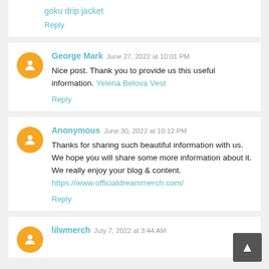goku drip jacket
Reply
George Mark  June 27, 2022 at 10:01 PM
Nice post. Thank you to provide us this useful information. Yelena Belova Vest
Reply
Anonymous  June 30, 2022 at 10:12 PM
Thanks for sharing such beautiful information with us. We hope you will share some more information about it. We really enjoy your blog & content.
https://www.officialdreammerch.com/
Reply
lilwmerch  July 7, 2022 at 3:44 AM